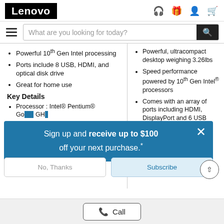Lenovo
What are you looking for today?
Powerful 10th Gen Intel processing
Ports include 8 USB, HDMI, and optical disk drive
Great for home use
Key Details
Processor : Intel® Pentium® Go... GH...
Op... 10...
Gr... UH...
Powerful, ultracompact desktop weighing 3.26lbs
Speed performance powered by 10th Gen Intel® processors
Comes with an array of ports including HDMI, DisplayPort and 6 USB ports
Key Details
Sign up and receive up to $100 off your next purchase.*
No, Thanks
Subscribe
Call